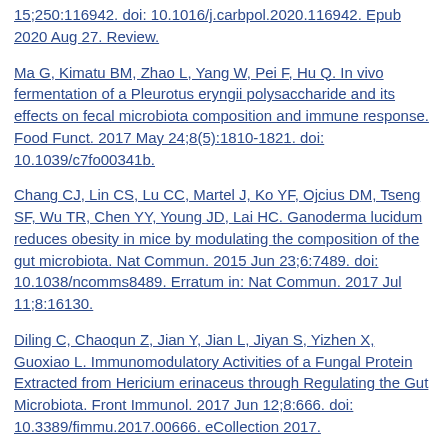15;250:116942. doi: 10.1016/j.carbpol.2020.116942. Epub 2020 Aug 27. Review.
Ma G, Kimatu BM, Zhao L, Yang W, Pei F, Hu Q. In vivo fermentation of a Pleurotus eryngii polysaccharide and its effects on fecal microbiota composition and immune response. Food Funct. 2017 May 24;8(5):1810-1821. doi: 10.1039/c7fo00341b.
Chang CJ, Lin CS, Lu CC, Martel J, Ko YF, Ojcius DM, Tseng SF, Wu TR, Chen YY, Young JD, Lai HC. Ganoderma lucidum reduces obesity in mice by modulating the composition of the gut microbiota. Nat Commun. 2015 Jun 23;6:7489. doi: 10.1038/ncomms8489. Erratum in: Nat Commun. 2017 Jul 11;8:16130.
Diling C, Chaoqun Z, Jian Y, Jian L, Jiyan S, Yizhen X, Guoxiao L. Immunomodulatory Activities of a Fungal Protein Extracted from Hericium erinaceus through Regulating the Gut Microbiota. Front Immunol. 2017 Jun 12;8:666. doi: 10.3389/fimmu.2017.00666. eCollection 2017.